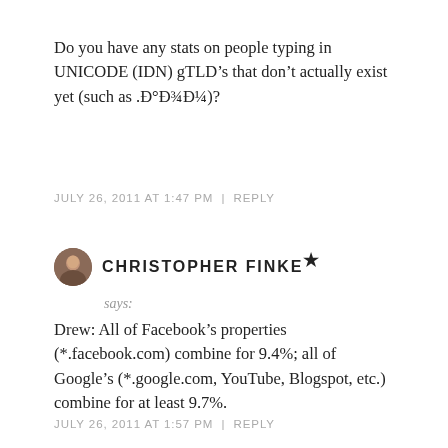Do you have any stats on people typing in UNICODE (IDN) gTLD’s that don’t actually exist yet (such as .Дом)?
JULY 26, 2011 AT 1:47 PM | REPLY
CHRISTOPHER FINKE ★
says:
Drew: All of Facebook’s properties (*.facebook.com) combine for 9.4%; all of Google’s (*.google.com, YouTube, Blogspot, etc.) combine for at least 9.7%.
JULY 26, 2011 AT 1:57 PM | REPLY